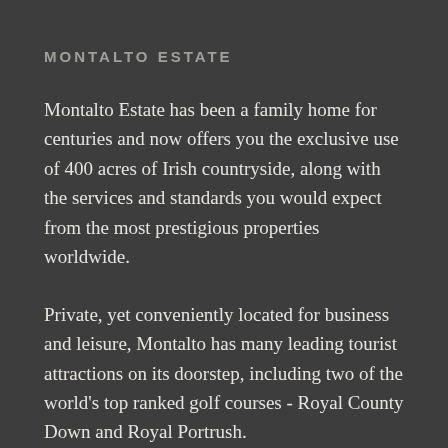MONTALTO ESTATE
Montalto Estate has been a family home for centuries and now offers you the exclusive use of 400 acres of Irish countryside, along with the services and standards you would expect from the most prestigious properties worldwide.
Private, yet conveniently located for business and leisure, Montalto has many leading tourist attractions on its doorstep, including two of the world's top ranked golf courses - Royal County Down and Royal Portrush.